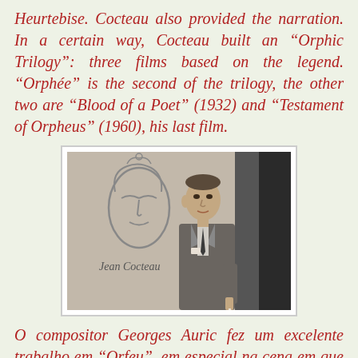Heurtebise. Cocteau also provided the narration. In a certain way, Cocteau built an “Orphic Trilogy”: three films based on the legend. “Orphée” is the second of the trilogy, the other two are “Blood of a Poet” (1932) and “Testament of Orpheus” (1960), his last film.
[Figure (photo): Black and white photograph of Jean Cocteau standing in front of a wall with a drawn face and his signature 'Jean Cocteau' written on it. He is wearing a suit and looking to the side.]
O compositor Georges Auric fez um excelente trabalho em “Orfeu”, em especial na cena em que Orfeu procura a Morte em uma rua movimentada. Auric teve uma longa carreira no cinema.